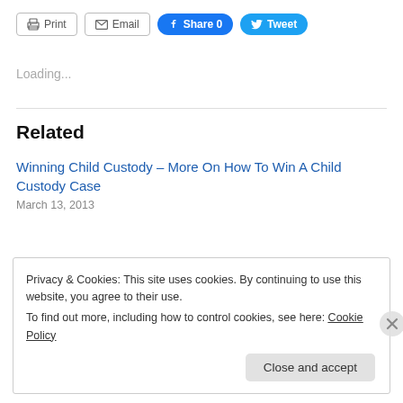[Figure (screenshot): Toolbar with Print, Email, Facebook Share 0, and Tweet buttons]
Loading...
Related
Winning Child Custody – More On How To Win A Child Custody Case
March 13, 2013
Privacy & Cookies: This site uses cookies. By continuing to use this website, you agree to their use.
To find out more, including how to control cookies, see here: Cookie Policy
Close and accept